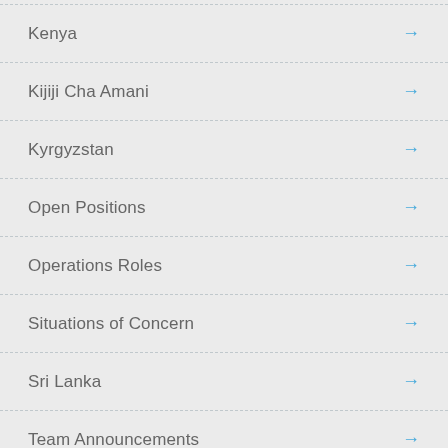Kenya
Kijiji Cha Amani
Kyrgyzstan
Open Positions
Operations Roles
Situations of Concern
Sri Lanka
Team Announcements
Technology